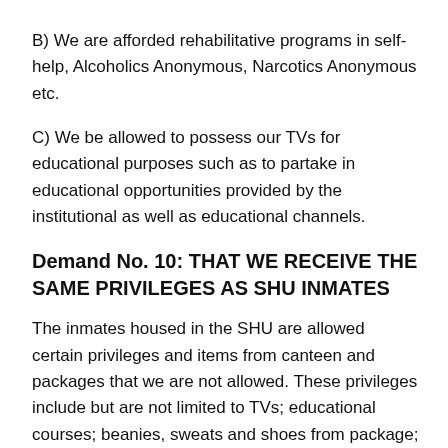B) We are afforded rehabilitative programs in self-help, Alcoholics Anonymous, Narcotics Anonymous etc.
C) We be allowed to possess our TVs for educational purposes such as to partake in educational opportunities provided by the institutional as well as educational channels.
Demand No. 10: THAT WE RECEIVE THE SAME PRIVILEGES AS SHU INMATES
The inmates housed in the SHU are allowed certain privileges and items from canteen and packages that we are not allowed. These privileges include but are not limited to TVs; educational courses; beanies, sweats and shoes from package; photo ducats; and art supplies from canteen such as colored pens, pastels and sketch pads. Furthermore, SHU